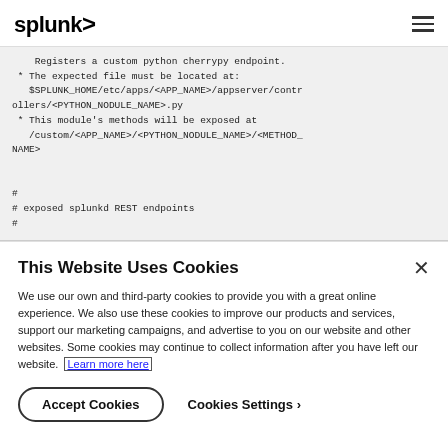splunk>
Registers a custom python cherrypy endpoint.
 * The expected file must be located at:
   $SPLUNK_HOME/etc/apps/<APP_NAME>/appserver/controllers/<PYTHON_NODULE_NAME>.py
 * This module's methods will be exposed at
   /custom/<APP_NAME>/<PYTHON_NODULE_NAME>/<METHOD_NAME>

#
# exposed splunkd REST endpoints
#
This Website Uses Cookies
We use our own and third-party cookies to provide you with a great online experience. We also use these cookies to improve our products and services, support our marketing campaigns, and advertise to you on our website and other websites. Some cookies may continue to collect information after you have left our website. Learn more here
Accept Cookies   Cookies Settings ›